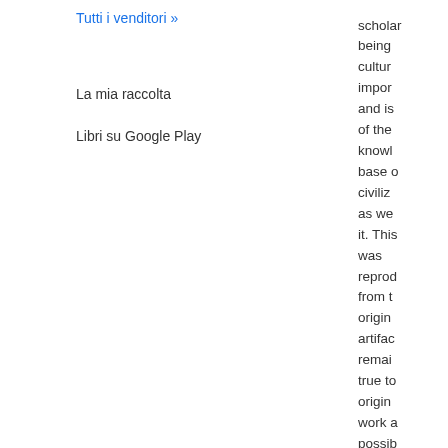Tutti i venditori »
La mia raccolta
Libri su Google Play
scholar being cultura impor and is of the knowl base c civiliz as we it. Thi was reprod from t origin artifa remai true t origin work a possib There you w